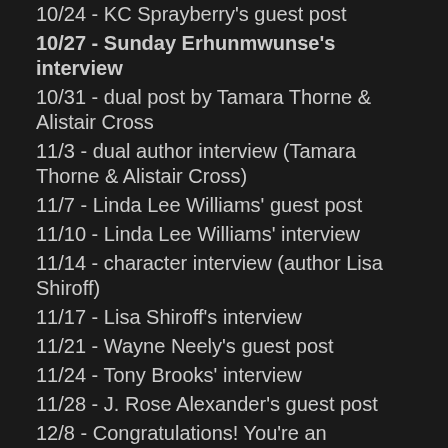10/24 - KC Sprayberry's guest post
10/27 - Sunday Erhunmwunse's interview
10/31 - dual post by Tamara Thorne & Alistair Cross
11/3 - dual author interview (Tamara Thorne & Alistair Cross)
11/7 - Linda Lee Williams' guest post
11/10 - Linda Lee Williams' interview
11/14 - character interview (author Lisa Shiroff)
11/17 - Lisa Shiroff's interview
11/21 - Wayne Neely's guest post
11/24 - Tony Brooks' interview
11/28 - J. Rose Alexander's guest post
12/8 - Congratulations! You're an Authorpreneur by Marie Lavender
12/12 - Barb Jones' guest post (character interview)
12/15 - Barb Jones' interview
12/19 - Fiona Tarr's guest post
12/22 - Fiona Tarr's interview
12/29 - "A Year in Review - 2014" by Marie Lavender
The Year 2015
1/5 - Lisa Day's interview
1/9 - Sue Raymond's character interview